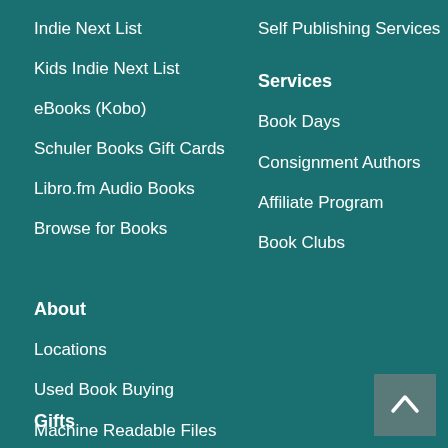Indie Next List
Kids Indie Next List
eBooks (Kobo)
Schuler Books Gift Cards
Libro.fm Audio Books
Browse for Books
Self Publishing Services
Services
Book Days
Consignment Authors
Affiliate Program
Book Clubs
About
Locations
Used Book Buying
Machine Readable Files
Gifts